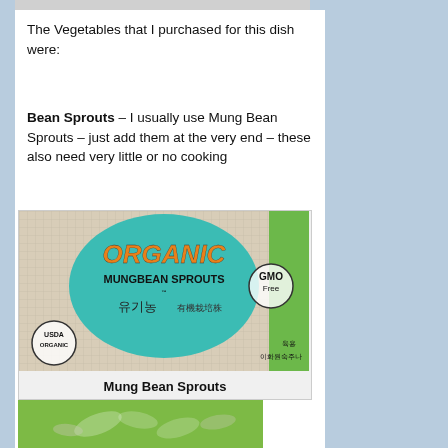The Vegetables that I purchased for this dish were:
Bean Sprouts – I usually use Mung Bean Sprouts – just add them at the very end – these also need very little or no cooking
[Figure (photo): Package of Organic Mungbean Sprouts with teal label showing USDA Organic and GMO Free badges, with Korean and Chinese text]
Mung Bean Sprouts
[Figure (photo): Close-up photo of mung bean sprouts on a green background]